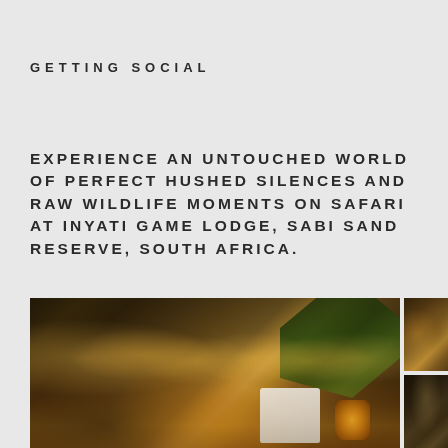GETTING SOCIAL
EXPERIENCE AN UNTOUCHED WORLD OF PERFECT HUSHED SILENCES AND RAW WILDLIFE MOMENTS ON SAFARI AT INYATI GAME LODGE, SABI SAND RESERVE, SOUTH AFRICA.
[Figure (photo): Outdoor dining scene at Inyati Game Lodge with candles/lights in background, tropical foliage in foreground, and stack of white plates visible]
[Figure (photo): Close-up food/table setting photo at Inyati Game Lodge]
[Figure (photo): Interior or nature scene at Inyati Game Lodge]